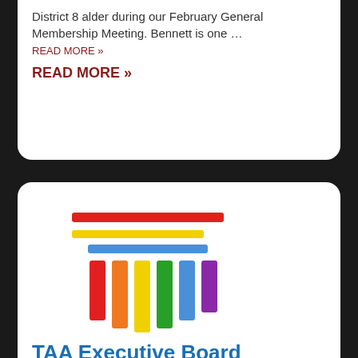District 8 alder during our February General Membership Meeting. Bennett is one …
READ MORE »
READ MORE »
[Figure (logo): TAA logo with horizontal colored stripes (red, yellow, blue) and vertical colored bars (red, orange, yellow, green, blue, purple) arranged like pan flutes or pillars]
TAA Executive Board Statement condemning WoLF
February 18, 2021